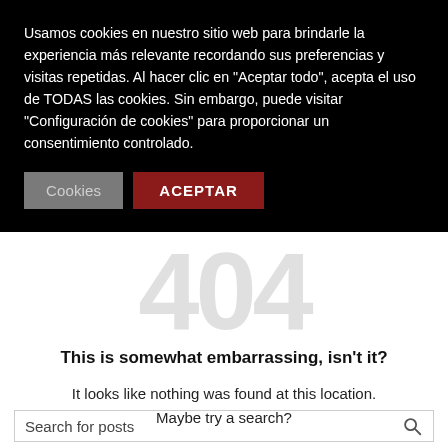Usamos cookies en nuestro sitio web para brindarle la experiencia más relevante recordando sus preferencias y visitas repetidas. Al hacer clic en "Aceptar todo", acepta el uso de TODAS las cookies. Sin embargo, puede visitar "Configuración de cookies" para proporcionar un consentimiento controlado.
[Figure (screenshot): Two buttons: a grey 'Cookies' button and a dark red 'ACEPTAR' button]
[Figure (other): Large light grey watermark text '404' in the background]
This is somewhat embarrassing, isn't it?
It looks like nothing was found at this location. Maybe try a search?
Search for posts